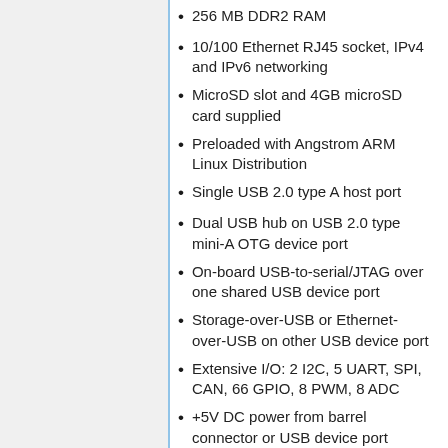256 MB DDR2 RAM
10/100 Ethernet RJ45 socket, IPv4 and IPv6 networking
MicroSD slot and 4GB microSD card supplied
Preloaded with Angstrom ARM Linux Distribution
Single USB 2.0 type A host port
Dual USB hub on USB 2.0 type mini-A OTG device port
On-board USB-to-serial/JTAG over one shared USB device port
Storage-over-USB or Ethernet-over-USB on other USB device port
Extensive I/O: 2 I2C, 5 UART, SPI, CAN, 66 GPIO, 8 PWM, 8 ADC
+5V DC power from barrel connector or USB device port
Power consumption of 300-500mA at 5V